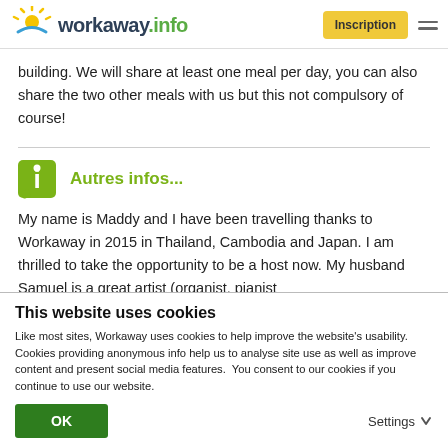workaway.info — Inscription
building. We will share at least one meal per day, you can also share the two other meals with us but this not compulsory of course!
Autres infos...
My name is Maddy and I have been travelling thanks to Workaway in 2015 in Thailand, Cambodia and Japan. I am thrilled to take the opportunity to be a host now. My husband Samuel is a great artist (organist, pianist
This website uses cookies
Like most sites, Workaway uses cookies to help improve the website's usability. Cookies providing anonymous info help us to analyse site use as well as improve content and present social media features.  You consent to our cookies if you continue to use our website.
OK   Settings